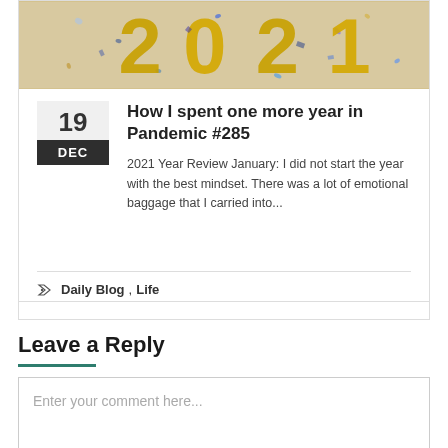[Figure (photo): Gold balloon numbers (2021) with colorful confetti on a light background]
How I spent one more year in Pandemic #285
2021 Year Review January: I did not start the year with the best mindset. There was a lot of emotional baggage that I carried into...
Daily Blog, Life
Leave a Reply
Enter your comment here...